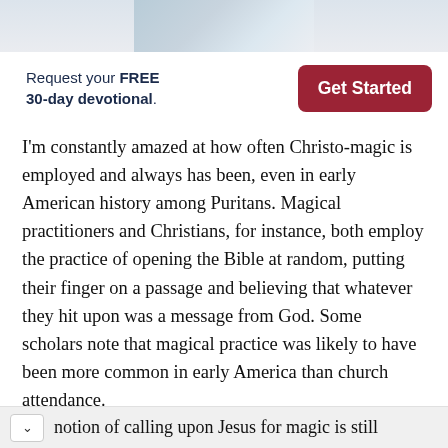[Figure (illustration): Partial banner image at top of page showing a decorative illustration, cropped]
Request your FREE 30-day devotional.
Get Started
I’m constantly amazed at how often Christo-magic is employed and always has been, even in early American history among Puritans. Magical practitioners and Christians, for instance, both employ the practice of opening the Bible at random, putting their finger on a passage and believing that whatever they hit upon was a message from God. Some scholars note that magical practice was likely to have been more common in early America than church attendance.
notion of calling upon Jesus for magic is still